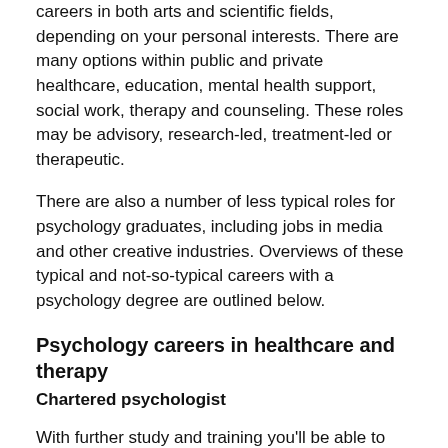careers in both arts and scientific fields, depending on your personal interests. There are many options within public and private healthcare, education, mental health support, social work, therapy and counseling. These roles may be advisory, research-led, treatment-led or therapeutic.
There are also a number of less typical roles for psychology graduates, including jobs in media and other creative industries. Overviews of these typical and not-so-typical careers with a psychology degree are outlined below.
Psychology careers in healthcare and therapy
Chartered psychologist
With further study and training you'll be able to gain qualification as a chartered psychologist. Within this highly specialized role, you'll work with people of all backgrounds, both patients and clients.
You'll analyze behaviors, thoughts and emotions in order to better understand and advise on certain actions and/or